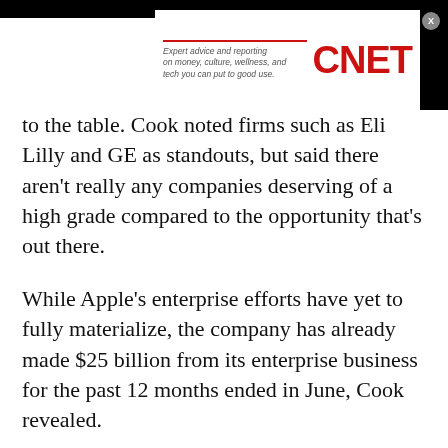[Figure (logo): CNET advertisement banner with tagline 'Expert advice and reporting on money, culture, wellness, and tech you can put to good use.' and CNET logo in red]
to the table. Cook noted firms such as Eli Lilly and GE as standouts, but said there aren't really any companies deserving of a high grade compared to the opportunity that's out there.
While Apple's enterprise efforts have yet to fully materialize, the company has already made $25 billion from its enterprise business for the past 12 months ended in June, Cook revealed.
"So this is not a hobby," he added.
When Levie asked Cook what's next for Apple, Cook stated boldly, "We haven't even started yet."